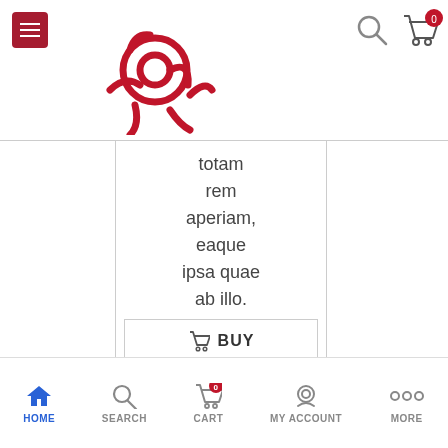[Figure (logo): Red running person with @ symbol logo on white header background]
totam rem aperiam, eaque ipsa quae ab illo.
BUY
PRODUCT
HOME  SEARCH  CART  MY ACCOUNT  MORE